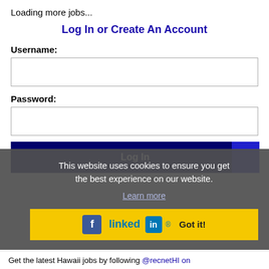Loading more jobs...
Log In or Create An Account
Username:
Password:
Log In
This website uses cookies to ensure you get the best experience on our website.
Learn more
Got it!
Get the latest Hawaii jobs by following @recnetHI on